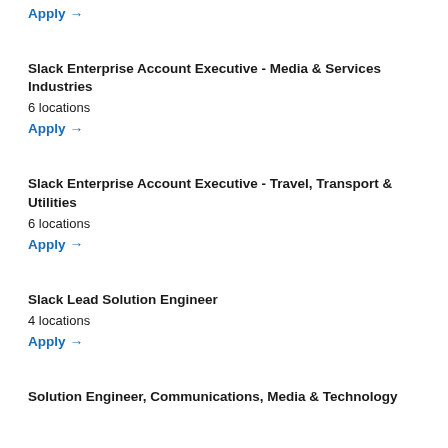Apply →
Slack Enterprise Account Executive - Media & Services Industries
6 locations
Apply →
Slack Enterprise Account Executive - Travel, Transport & Utilities
6 locations
Apply →
Slack Lead Solution Engineer
4 locations
Apply →
Solution Engineer, Communications, Media & Technology